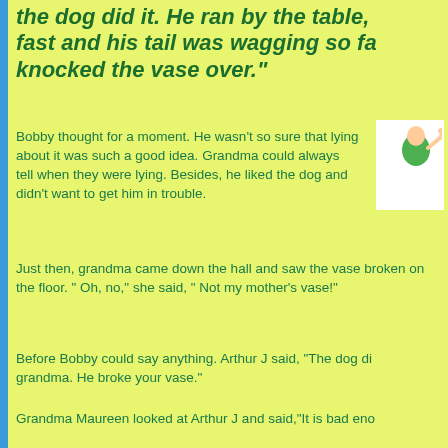the dog did it. He ran by the table, fast and his tail was wagging so fast knocked the vase over."
Bobby thought for a moment. He wasn't so sure that lying about it was such a good idea. Grandma could always tell when they were lying. Besides, he liked the dog and didn't want to get him in trouble.
[Figure (illustration): Illustration of a character waving hand, wearing green]
Just then, grandma came down the hall and saw the vase broken on the floor. " Oh, no," she said, " Not my mother's vase!"
Before Bobby could say anything. Arthur J said, "The dog did grandma. He broke your vase."
Grandma Maureen looked at Arthur J and said,"It is bad enough you broke my vase, but now you are not telling me the truth it got broken. The dog isn't even here. He is outside, where been for the past hour."
Then grandma said, "Let's go in the living room and sit down